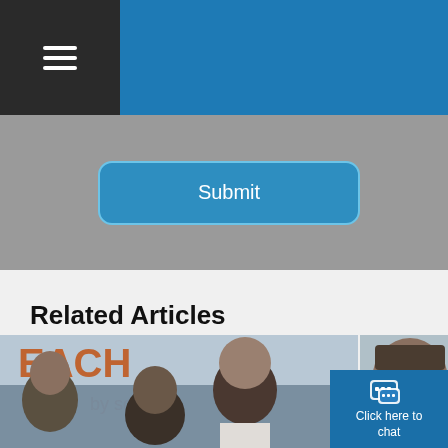Navigation header with hamburger menu
[Figure (screenshot): Submit button on gray background form section]
Related Articles
[Figure (photo): Group photo of men at an event with BEACH by SC signage in background]
[Figure (photo): Close-up side photo of man's head showing hair]
Click here to chat